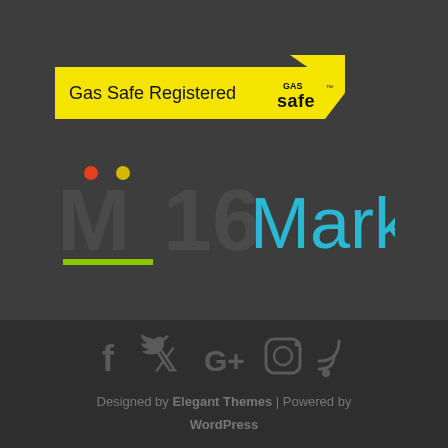[Figure (logo): Gas Safe Registered logo badge — yellow rectangle with 'Gas Safe Registered' text and yellow arrow-right shape containing 'GAS safe' logo text in black]
[Figure (logo): M16 Marketing logo — stylized 'M' with orange and yellow dots above, underlined in green, followed by '16' in dark color and 'Marketing' in cyan/teal on dark background]
[Figure (infographic): Footer social media icons: Facebook (f), Twitter bird, Google+, Instagram camera, RSS feed — all in dark grey on darker background]
Designed by Elegant Themes | Powered by WordPress